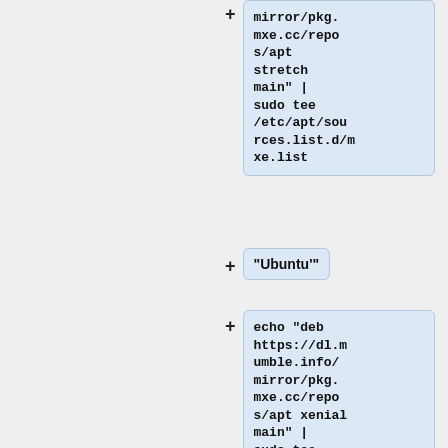[Figure (flowchart): Flowchart showing two branches with code boxes. Top branch: a code box containing 'mirror/pkg.mxe.cc/repos/apt stretch main" | sudo tee /etc/apt/sources.list.d/mxe.list' with a + connector. Middle branch: a node labeled '"Ubuntu"' with a + connector. Bottom branch: a code box containing 'echo "deb https://dl.mumble.info/mirror/pkg.mxe.cc/repos/apt xenial main" | sudo tee /etc/apt/sources.list.d/mxe.list' with a + connector.]